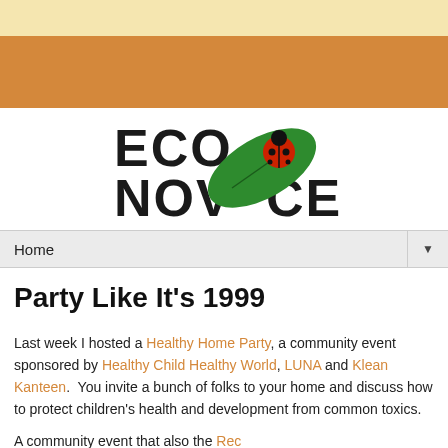[Figure (logo): EcoNovice logo with green leaf and ladybug, tagline 'going green gradually']
Home ▼
Party Like It's 1999
Last week I hosted a Healthy Home Party, a community event sponsored by Healthy Child Healthy World, LUNA and Klean Kanteen.  You invite a bunch of folks to your home and discuss how to protect children's health and development from common toxics.
A community event ...